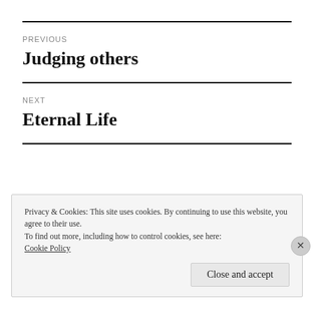PREVIOUS
Judging others
NEXT
Eternal Life
Privacy & Cookies: This site uses cookies. By continuing to use this website, you agree to their use.
To find out more, including how to control cookies, see here: Cookie Policy
Close and accept